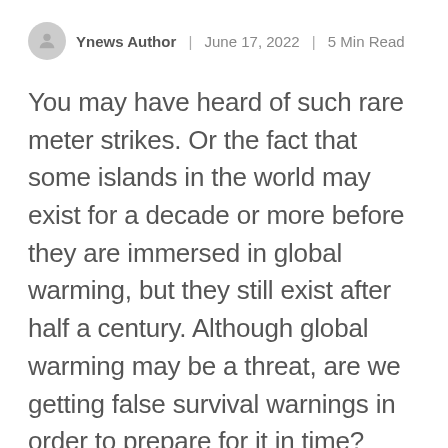Ynews Author | June 17, 2022 | 5 Min Read
You may have heard of such rare meter strikes. Or the fact that some islands in the world may exist for a decade or more before they are immersed in global warming, but they still exist after half a century. Although global warming may be a threat, are we getting false survival warnings in order to prepare for it in time?
All major international issues such as the 2016 US presidential election and the